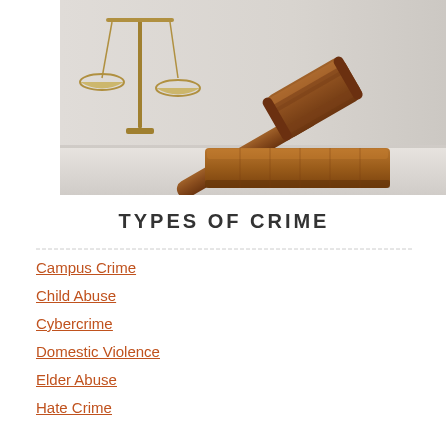[Figure (photo): A wooden judge's gavel resting on a sound block with scales of justice in the background, on a light gray background.]
TYPES OF CRIME
Campus Crime
Child Abuse
Cybercrime
Domestic Violence
Elder Abuse
Hate Crime